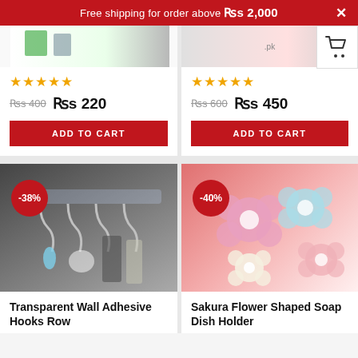Free shipping for order above ₨ 2,000
[Figure (photo): Partially visible product card top-left with star rating, price Rs 400 crossed out, Rs 220, and ADD TO CART button]
[Figure (photo): Partially visible product card top-right with star rating, price Rs 600 crossed out, Rs 450, and ADD TO CART button]
[Figure (photo): Transparent Wall Adhesive Hooks Row product image with -38% badge]
Transparent Wall Adhesive Hooks Row
[Figure (photo): Sakura Flower Shaped Soap Dish Holder product image with -40% badge]
Sakura Flower Shaped Soap Dish Holder